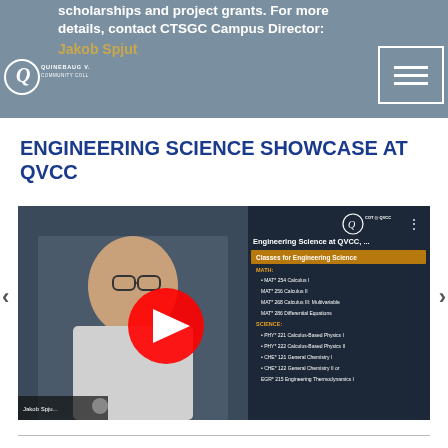scholarships and project grants. For more details, contact CTSGC Campus Director: Jakob Spjut
ENGINEERING SCIENCE SHOWCASE AT QVCC
[Figure (screenshot): YouTube video thumbnail for 'Engineering Science at QVCC' showing a male student in front of a chalkboard and a list of Classes for Engineering Science including MATH and SCIENCE courses. QVCC logo visible along with YouTube play button overlay. Jakob Spjut name label visible at bottom left.]